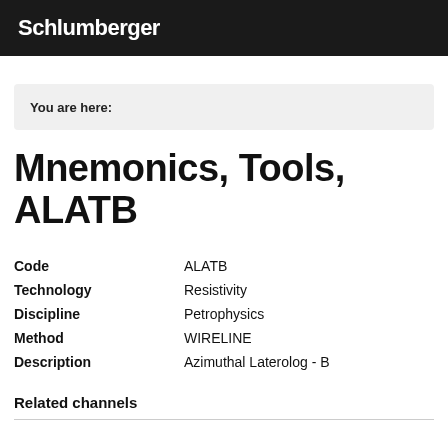Schlumberger
You are here:
Mnemonics, Tools, ALATB
| Field | Value |
| --- | --- |
| Code | ALATB |
| Technology | Resistivity |
| Discipline | Petrophysics |
| Method | WIRELINE |
| Description | Azimuthal Laterolog - B |
Related channels